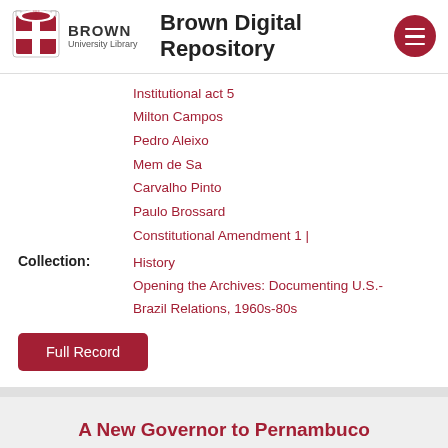Brown Digital Repository
Institutional act 5
Milton Campos
Pedro Aleixo
Mem de Sa
Carvalho Pinto
Paulo Brossard
Constitutional Amendment 1 |
Collection:
History
Opening the Archives: Documenting U.S.-Brazil Relations, 1960s-80s
A New Governor to Pernambuco